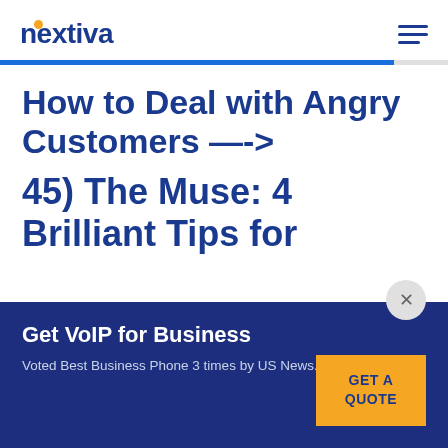nextiva
How to Deal with Angry Customers -->
45) The Muse: 4 Brilliant Tips for
Get VoIP for Business
Voted Best Business Phone 3 times by US News. See Pricing.
GET A QUOTE